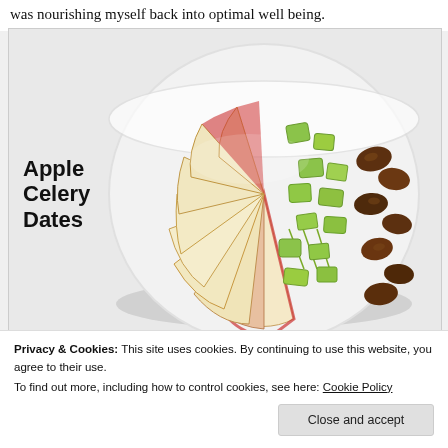was nourishing myself back into optimal well being.
[Figure (photo): A white bowl viewed from above containing sliced apples, chopped celery, and dates arranged in sections. Text overlay reads 'Apple Celery Dates'.]
Privacy & Cookies: This site uses cookies. By continuing to use this website, you agree to their use.
To find out more, including how to control cookies, see here: Cookie Policy
Close and accept